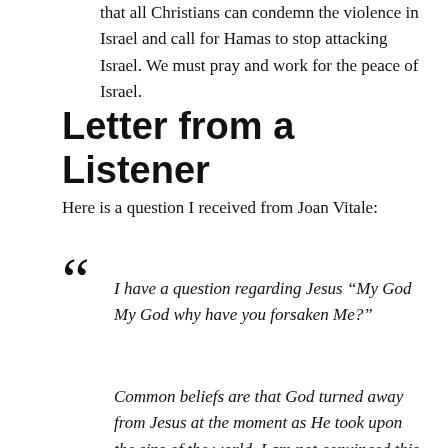that all Christians can condemn the violence in Israel and call for Hamas to stop attacking Israel. We must pray and work for the peace of Israel.
Letter from a Listener
Here is a question I received from Joan Vitale:
“ I have a question regarding Jesus “My God My God why have you forsaken Me?”
Common beliefs are that God turned away from Jesus at the moment as He took upon the sins of the world. I am not convinced this is so. Why? Because God never leaves us never forsakes us. Why would He forsake His only Son?
Instead I feel that Jesus did not become sin for us, but rather He became the sacrifice for our sins.